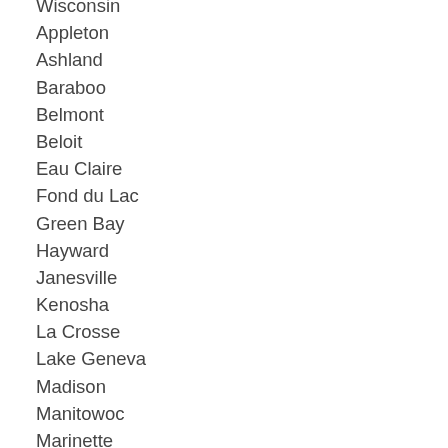Wisconsin
Appleton
Ashland
Baraboo
Belmont
Beloit
Eau Claire
Fond du Lac
Green Bay
Hayward
Janesville
Kenosha
La Crosse
Lake Geneva
Madison
Manitowoc
Marinette
Menasha
Milwaukee
Neenah
New Glarus